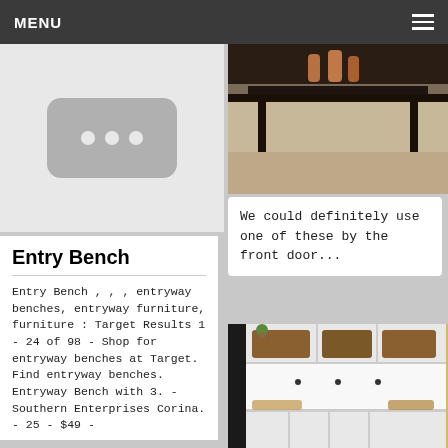MENU
[Figure (photo): Video/image placeholder with three dots icon on light grey background]
Entry Bench
Entry Bench , , , entryway benches, entryway furniture, furniture : Target Results 1 - 24 of 98 - Shop for entryway benches at Target. Find entryway benches. Entryway Bench with 3. - Southern Enterprises Corina. - 25 - $49 -
[Figure (photo): Dark furniture/shelf photo with candles on top shelf viewed from above]
We could definitely use one of these by the front door...
[Figure (photo): White mudroom built-in storage unit with cubbies, hooks, and baskets inside a closet with dark frame]